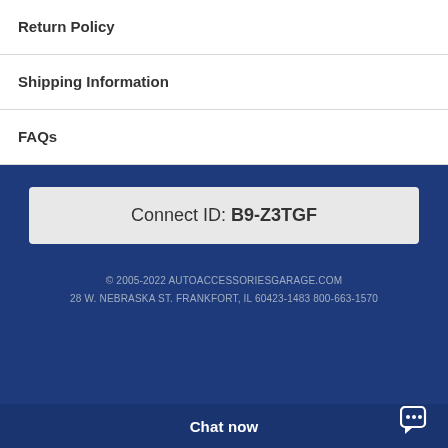Return Policy
Shipping Information
FAQs
Connect ID: B9-Z3TGF
© 2005-2022 AUTOACCESSORIESGARAGE.COM
28 W. NEBRASKA ST. FRANKFORT, IL 60423-1483 800-663-1570
Chat now